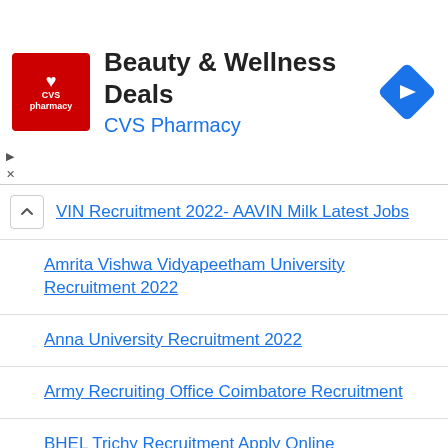[Figure (other): CVS Pharmacy advertisement banner with logo, title 'Beauty & Wellness Deals', subtitle 'CVS Pharmacy', and a navigation arrow icon]
VIN Recruitment 2022- AAVIN Milk Latest Jobs
Amrita Vishwa Vidyapeetham University Recruitment 2022
Anna University Recruitment 2022
Army Recruiting Office Coimbatore Recruitment
BHEL Trichy Recruitment Apply Online
Central University of Tamil Nadu (CUTN) Recruitment 2022
Chennai Port Trust Recruitment 2022